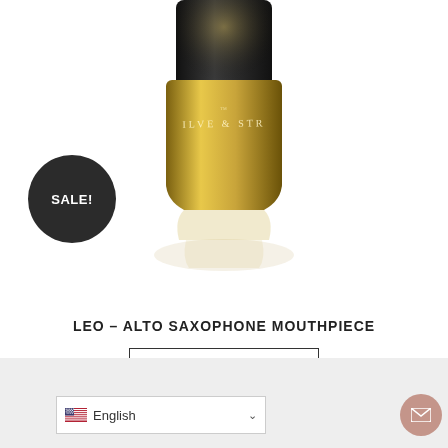[Figure (photo): Product photo of a saxophone mouthpiece (Leo – Alto Saxophone Mouthpiece) with black top and gold band with 'Silverstein' branding, shown from above on white background]
SALE!
LEO – ALTO SAXOPHONE MOUTHPIECE
SELECT OPTIONS
[Figure (other): Language selector showing US flag and 'English' with dropdown chevron, and a mail icon button in bottom right]